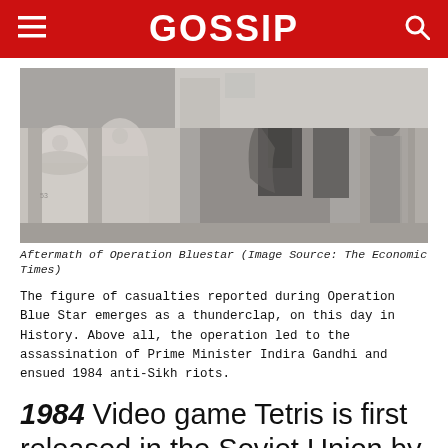GOSSIP
[Figure (photo): Black and white photograph showing aftermath of Operation Bluestar, with people near ornate temple architecture]
Aftermath of Operation Bluestar (Image Source: The Economic Times)
The figure of casualties reported during Operation Blue Star emerges as a thunderclap, on this day in History. Above all, the operation led to the assassination of Prime Minister Indira Gandhi and ensued 1984 anti-Sikh riots.
1984 Video game Tetris is first released in the Soviet Union by Alexey Pajitnov